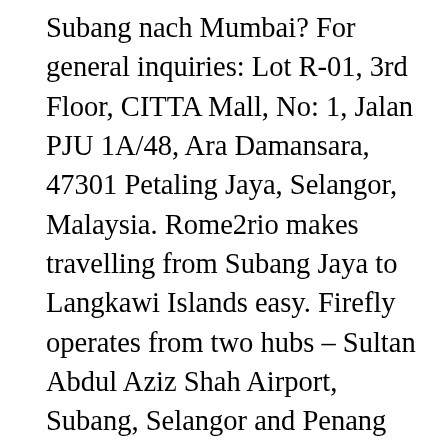Subang nach Mumbai? For general inquiries: Lot R-01, 3rd Floor, CITTA Mall, No: 1, Jalan PJU 1A/48, Ara Damansara, 47301 Petaling Jaya, Selangor, Malaysia. Rome2rio makes travelling from Subang Jaya to Langkawi Islands easy. Firefly operates from two hubs – Sultan Abdul Aziz Shah Airport, Subang, Selangor and Penang International Airport. Contact details Subang Airport; Map of Subang Airport Terminal 3. The Firefly and AirAsia Ticketing Offices. Within Singapore: +65 3158 8279 Tel: +609 538 2911, Ground Floor, Aero Mall, The previous Terminal 2 is under modernization to align with the existing terminal and its completion is expected in 2020. Book your car